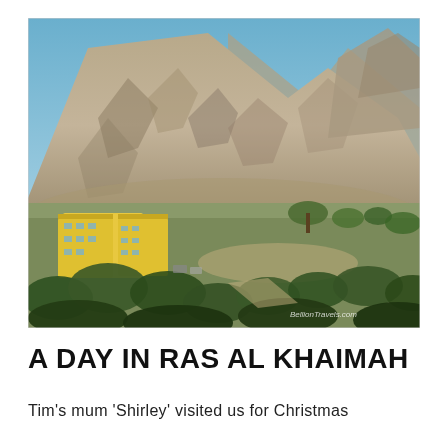[Figure (photo): Outdoor landscape photo showing a large rugged rocky mountain range under a clear blue sky. In the foreground and mid-ground are green shrubs and trees. A yellow multi-storey building complex is visible in the lower-left area surrounded by greenery. A watermark reads 'BellionTravels.com' in the lower-right corner.]
A DAY IN RAS AL KHAIMAH
Tim's mum 'Shirley' visited us for Christmas